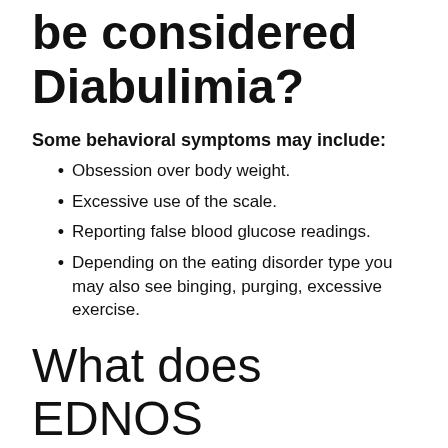Which behaviors may be considered Diabulimia?
Some behavioral symptoms may include:
Obsession over body weight.
Excessive use of the scale.
Reporting false blood glucose readings.
Depending on the eating disorder type you may also see binging, purging, excessive exercise.
What does EDNOS look like?